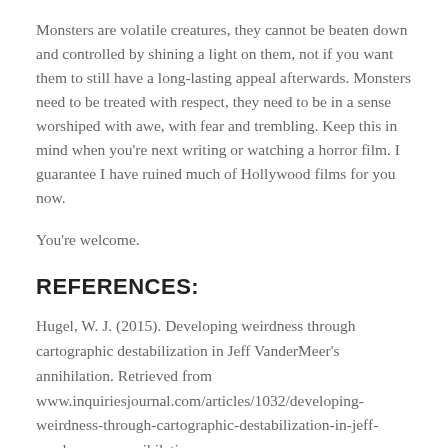Monsters are volatile creatures, they cannot be beaten down and controlled by shining a light on them, not if you want them to still have a long-lasting appeal afterwards. Monsters need to be treated with respect, they need to be in a sense worshiped with awe, with fear and trembling. Keep this in mind when you're next writing or watching a horror film. I guarantee I have ruined much of Hollywood films for you now.
You're welcome.
REFERENCES:
Hugel, W. J. (2015). Developing weirdness through cartographic destabilization in Jeff VanderMeer's annihilation. Retrieved from www.inquiriesjournal.com/articles/1032/developing-weirdness-through-cartographic-destabilization-in-jeff-vandermeers-annihilation